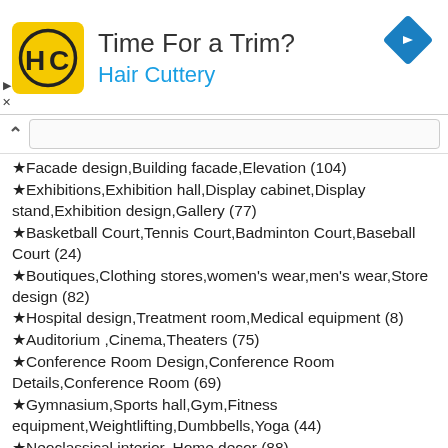[Figure (logo): Hair Cuttery advertisement banner with HC logo in yellow square, heading 'Time For a Trim?' and subheading 'Hair Cuttery' in blue, blue diamond arrow icon top right]
Facade design,Building facade,Elevation (104)
Exhibitions,Exhibition hall,Display cabinet,Display stand,Exhibition design,Gallery (77)
Basketball Court,Tennis Court,Badminton Court,Baseball Court (24)
Boutiques,Clothing stores,women's wear,men's wear,Store design (82)
Hospital design,Treatment room,Medical equipment (8)
Auditorium ,Cinema,Theaters (75)
Conference Room Design,Conference Room Details,Conference Room (69)
Gymnasium,Sports hall,Gym,Fitness equipment,Weightlifting,Dumbbells,Yoga (44)
Neoclassical interior, Home decor (88)
Pub,Bar,Restaurant (55)